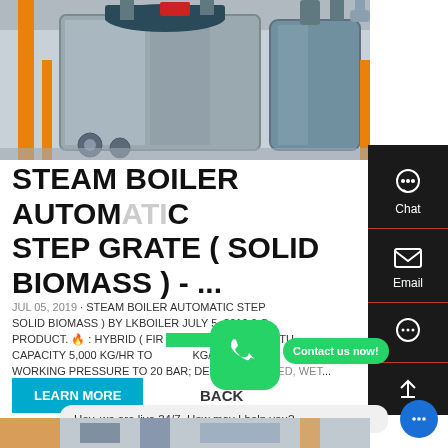[Figure (photo): Industrial steam boiler with stainless steel casing and orange pipe fittings inside a facility]
STEAM BOILER AUTOMATIC STEP GRATE ( SOLID BIOMASS ) - ...
JUL 05, 2019 · STEAM BOILER AUTOMATIC STEP GRATE ( SOLID BIOMASS ) BY LKBOILER JULY 5, 2019 0 C... PRODUCT. 🔥 : HYBRID ( FIRE... & WATER TU... CAPACITY 5,000 KG/HR TO... KG/HR; MAX... WORKING PRESSURE TO 20 BAR; DESIGN 3 PASS...ED, WET...
[Figure (screenshot): WhatsApp icon button (green rounded square with phone handset)]
Contact us now!
LEARN MORE
BACK
Hey, we are live 24/7. How may I help you?
[Figure (photo): Bottom partial photo of industrial machinery/boiler components]